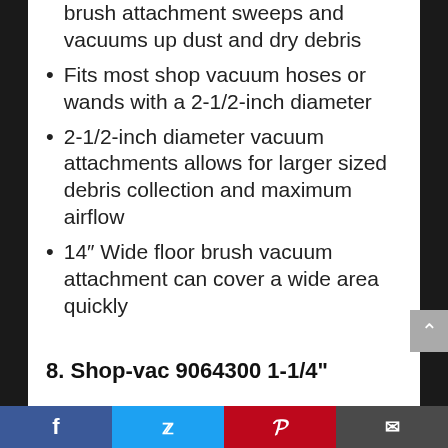brush attachment sweeps and vacuums up dust and dry debris
Fits most shop vacuum hoses or wands with a 2-1/2-inch diameter
2-1/2-inch diameter vacuum attachments allows for larger sized debris collection and maximum airflow
14″ Wide floor brush vacuum attachment can cover a wide area quickly
8. Shop-vac 9064300 1-1/4"